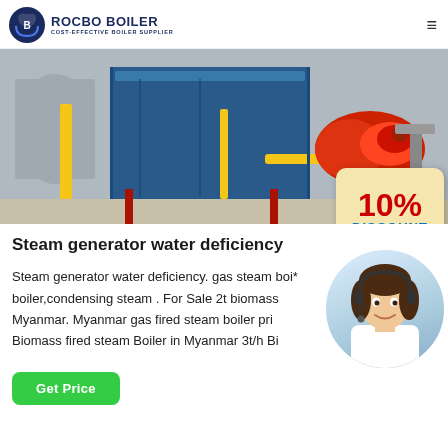[Figure (logo): Rocbo Boiler logo with circular emblem and text 'ROCBO BOILER - COST-EFFECTIVE BOILER SUPPLIER']
[Figure (photo): Industrial boiler room with large blue boiler tank, yellow pipes, red burner unit, and a 10% DISCOUNT badge overlay]
Steam generator water deficiency
Steam generator water deficiency. gas steam boi* boiler,condensing steam . For Sale 2t biomass Myanmar. Myanmar gas fired steam boiler pri Biomass fired steam Boiler in Myanmar 3t/h Bi
[Figure (photo): Customer service representative woman with headset smiling]
Get Price